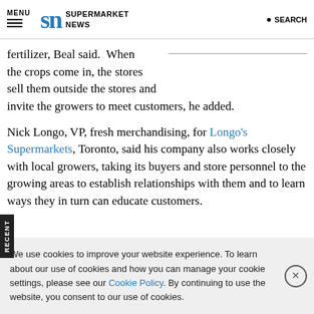MENU | SN SUPERMARKET NEWS | SEARCH
fertilizer, Beal said.  When the crops come in, the stores sell them outside the stores and invite the growers to meet customers, he added.
Nick Longo, VP, fresh merchandising, for Longo's Supermarkets, Toronto, said his company also works closely with local growers, taking its buyers and store personnel to the growing areas to establish relationships with them and to learn ways they in turn can educate customers.
We use cookies to improve your website experience. To learn about our use of cookies and how you can manage your cookie settings, please see our Cookie Policy. By continuing to use the website, you consent to our use of cookies.